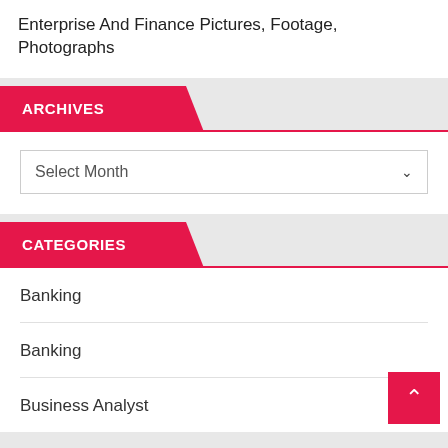Enterprise And Finance Pictures, Footage, Photographs
ARCHIVES
Select Month
CATEGORIES
Banking
Banking
Business Analyst